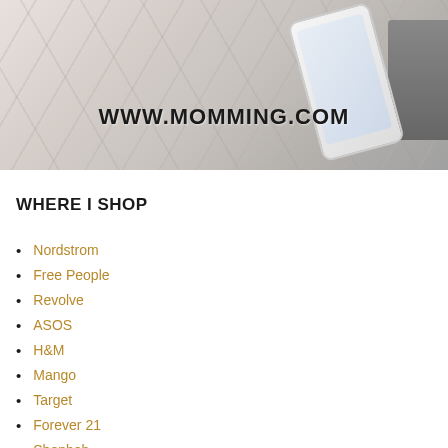[Figure (photo): Banner photo showing a marble surface with a smartphone displaying an Instagram-like profile page, a tablet, and a keyboard in the background. Text overlay reads WWW.MOMMING.COM]
WHERE I SHOP
Nordstrom
Free People
Revolve
ASOS
H&M
Mango
Target
Forever 21
Shopbob